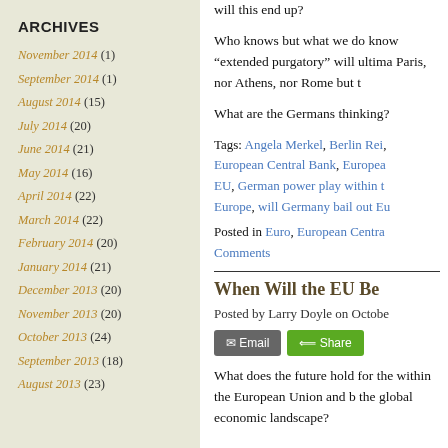ARCHIVES
November 2014 (1)
September 2014 (1)
August 2014 (15)
July 2014 (20)
June 2014 (21)
May 2014 (16)
April 2014 (22)
March 2014 (22)
February 2014 (20)
January 2014 (21)
December 2013 (20)
November 2013 (20)
October 2013 (24)
September 2013 (18)
August 2013 (23)
will this end up?
Who knows but what we do know “extended purgatory” will ultima Paris, nor Athens, nor Rome but t
What are the Germans thinking?
Tags: Angela Merkel, Berlin Rei European Central Bank, Europea EU, German power play within t Europe, will Germany bail out Eu
Posted in Euro, European Centra Comments
When Will the EU Be
Posted by Larry Doyle on Octobe
What does the future hold for the within the European Union and b the global economic landscape?